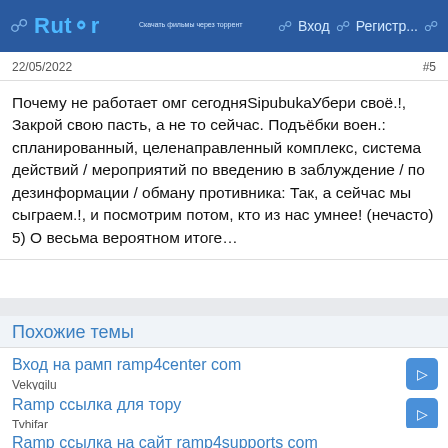Rutor — Вход — Регистр...
22/05/2022  #5
Почему не работает омг сегодняSipubukaУбери своё.!, Закрой свою пасть, а не то сейчас. Подъёбки воен.: спланированный, целенаправленный комплекс, система действий / мероприятий по введению в заблуждение / по дезинформации / обману противника: Так, а сейчас мы сыграем.!, и посмотрим потом, кто из нас умнее! (нечасто) 5) О весьма вероятном итоге…
Похожие темы
Вход на рамп ramp4center com
Vekyqilu
Ramp ссылка для тору
Tyhifar
Ramp ссылка на сайт ramp4supports com